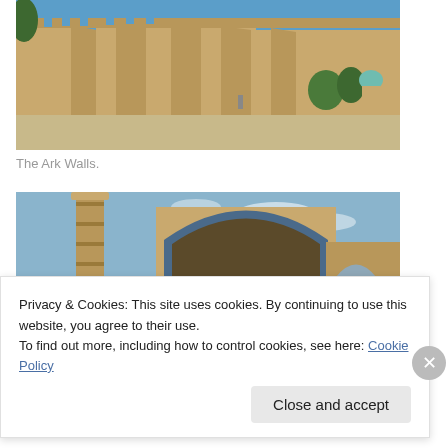[Figure (photo): Photo of the Ark Walls in Bukhara, Uzbekistan. Large ancient mud-brick fortress walls under a clear blue sky, with green trees and a turquoise dome visible in the background on the right.]
The Ark Walls.
[Figure (photo): Photo of an Islamic architectural complex featuring a tall minaret on the left and a large arched portal (iwan) of a mosque or madrasah under a blue sky with light clouds.]
Privacy & Cookies: This site uses cookies. By continuing to use this website, you agree to their use.
To find out more, including how to control cookies, see here: Cookie Policy